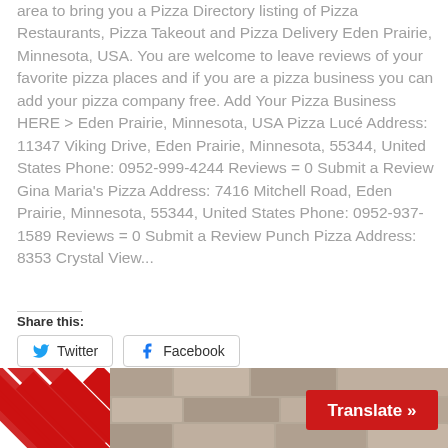area to bring you a Pizza Directory listing of Pizza Restaurants, Pizza Takeout and Pizza Delivery Eden Prairie, Minnesota, USA. You are welcome to leave reviews of your favorite pizza places and if you are a pizza business you can add your pizza company free. Add Your Pizza Business HERE > Eden Prairie, Minnesota, USA Pizza Lucé Address: 11347 Viking Drive, Eden Prairie, Minnesota, 55344, United States Phone: 0952-999-4244 Reviews = 0 Submit a Review Gina Maria's Pizza Address: 7416 Mitchell Road, Eden Prairie, Minnesota, 55344, United States Phone: 0952-937-1589 Reviews = 0 Submit a Review Punch Pizza Address: 8353 Crystal View...
Share this:
[Figure (other): Twitter and Facebook share buttons, followed by a bottom banner image with diagonal red/white stripes on the left, a stone wall photo background, and a red 'Translate »' button on the right]